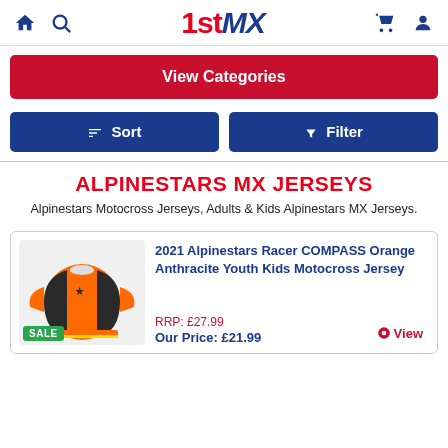1stMX
View Categories
Sort   Filter
ALPINESTARS MX JERSEYS
Alpinestars Motocross Jerseys, Adults & Kids Alpinestars MX Jerseys.
[Figure (photo): Orange and dark Alpinestars Racer COMPASS youth motocross jersey with SALE badge]
2021 Alpinestars Racer COMPASS Orange Anthracite Youth Kids Motocross Jersey
RRP: £27.99
Our Price: £21.99